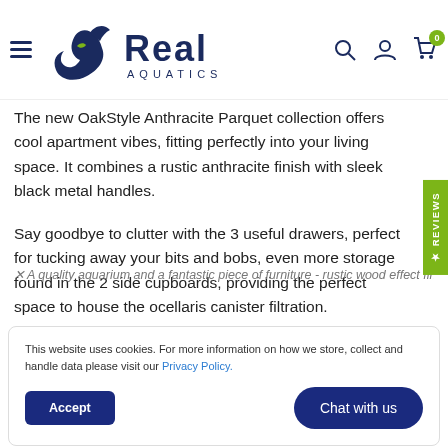Real Aquatics logo with navigation icons and cart
The new OakStyle Anthracite Parquet collection offers cool apartment vibes, fitting perfectly into your living space. It combines a rustic anthracite finish with sleek black metal handles.
Say goodbye to clutter with the 3 useful drawers, perfect for tucking away your bits and bobs, even more storage found in the 2 side cupboards, providing the perfect space to house the ocellaris canister filtration.
Included with all Oak Style aquariums is powerful LED lighting and an Aqua One 150w heater to allow for a tropical fish set-up. The AquaOne Oak Style comes complete with a moray internal 700L filter with bio
This website uses cookies. For more information on how we store, collect and handle data please visit our Privacy Policy.
A quality aquarium and a fantastic piece of furniture - rustic wood effect finish